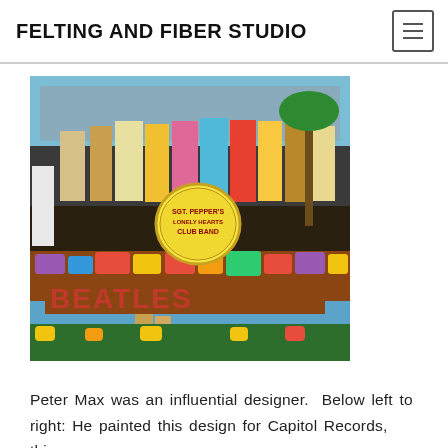FELTING AND FIBER STUDIO
[Figure (photo): Sgt. Pepper's Lonely Hearts Club Band album cover by The Beatles, showing a large crowd of famous figures in colorful costumes with flower arrangements spelling out BEATLES in the foreground.]
Peter Max was an influential designer.  Below left to right: He painted this design for Capitol Records, this